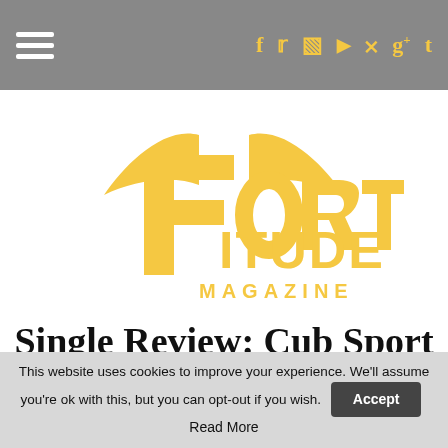Navigation bar with hamburger menu and social icons: f, twitter, instagram, youtube, pinterest, g+, t
[Figure (logo): Fortitude Magazine logo in gold/yellow — stylized 'F' with wings and text 'FORTITUDE MAGAZINE']
Single Review: Cub Sport – Always Got The Love
This website uses cookies to improve your experience. We'll assume you're ok with this, but you can opt-out if you wish. Accept Read More